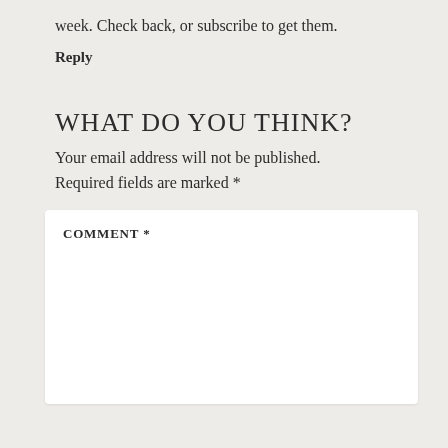week. Check back, or subscribe to get them.
Reply
WHAT DO YOU THINK?
Your email address will not be published. Required fields are marked *
COMMENT *